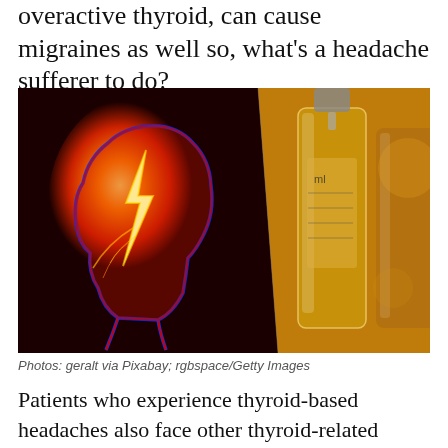overactive thyroid, can cause migraines as well so, what's a headache sufferer to do?
[Figure (photo): Split composite image: left half shows a red silhouette of a human head with a glowing lightning bolt inside the brain area against a dark background; right half shows close-up amber/golden liquid in glass vials or bottles with a measuring dropper.]
Photos: geralt via Pixabay; rgbspace/Getty Images
Patients who experience thyroid-based headaches also face other thyroid-related complications like anxiety, inflammation, and joint pain. With CBD